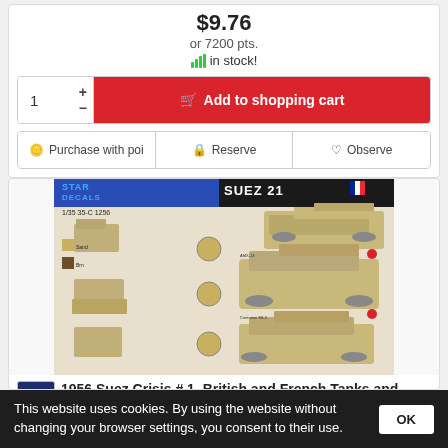$9.76
or 7200 pts.
in stock!
1
+ Add to shopping cart
Purchase with poi
Reserve
Observe
[Figure (photo): Star Decals product sheet 35-C 1256 showing 1956 Suez Crisis British and French tanks and AFVs decal sheet with multiple vehicle illustrations]
1956 Suez Crisis # 1. British and French Tanks and AFVs
This website uses cookies. By using the website without changing your browser settings, you consent to their use.
OK